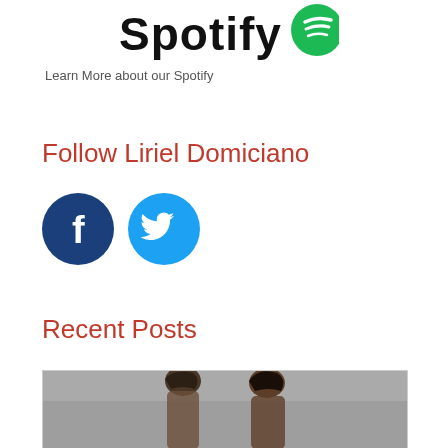[Figure (logo): Spotify logo with green circle icon and bold black text 'Spotify']
Learn More about our Spotify
Follow Liriel Domiciano
[Figure (illustration): Facebook and Twitter social media icon buttons — dark blue circle with white 'f' for Facebook, light blue circle with white bird for Twitter]
Recent Posts
[Figure (photo): Photo of two people (a man and a woman) against a grey textured background, partially visible at the bottom of the page]